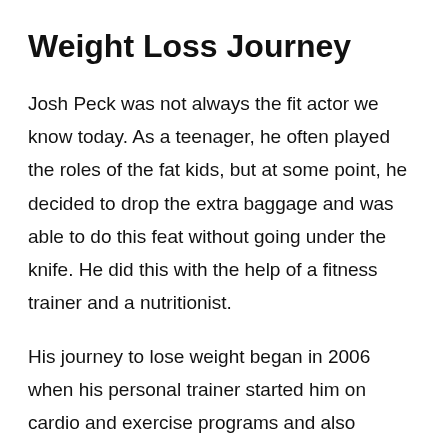Weight Loss Journey
Josh Peck was not always the fit actor we know today. As a teenager, he often played the roles of the fat kids, but at some point, he decided to drop the extra baggage and was able to do this feat without going under the knife. He did this with the help of a fitness trainer and a nutritionist.
His journey to lose weight began in 2006 when his personal trainer started him on cardio and exercise programs and also changed his diet to healthier things. His hard work began to take shape when he lost more